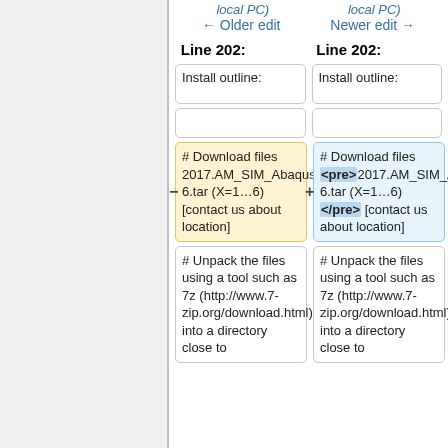← Older edit    Newer edit →
Line 202:    Line 202:
Install outline:    Install outline:
# Download files 2017.AM_SIM_Abaqus_Extend.AllOS.X-6.tar (X=1…6) [contact us about location]
# Download files <pre>2017.AM_SIM_Abaqus_Extend.AllOS.X-6.tar (X=1…6) </pre> [contact us about location]
# Unpack the files using a tool such as 7z (http://www.7-zip.org/download.html) into a directory close to
# Unpack the files using a tool such as 7z (http://www.7-zip.org/download.html) into a directory close to